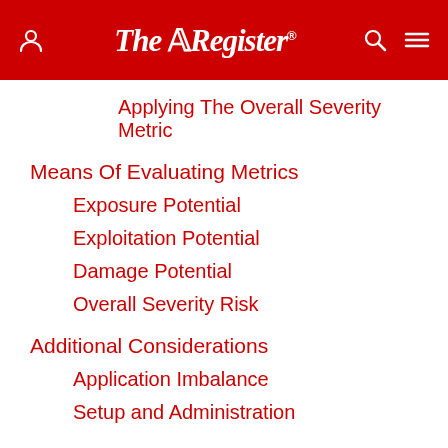The Register
Applying The Overall Severity Metric
Means Of Evaluating Metrics
Exposure Potential
Exploitation Potential
Damage Potential
Overall Severity Risk
Additional Considerations
Application Imbalance
Setup and Administration